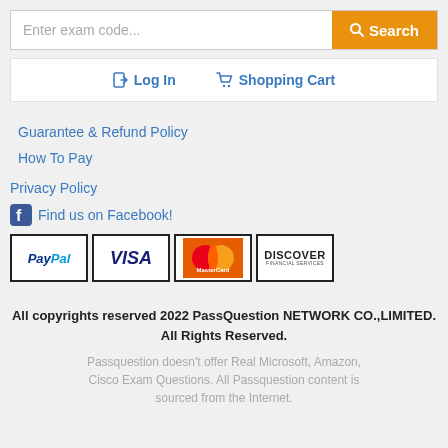[Figure (screenshot): Search bar with placeholder 'Enter exam code...' and orange Search button]
[Figure (screenshot): Navigation bar with Log In and Shopping Cart links]
Guarantee & Refund Policy
How To Pay
Privacy Policy
Find us on Facebook!
[Figure (logo): Payment method logos: PayPal, VISA, MasterCard, DISCOVER]
All copyrights reserved 2022 PassQuestion NETWORK CO.,LIMITED. All Rights Reserved.
Passquestion doesn't offer Real Microsoft, Amazon, Cisco Exam Questions. All Passquestion content is sourced from the Internet.